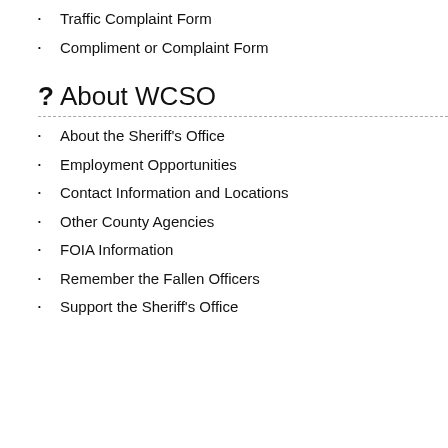Traffic Complaint Form
Compliment or Complaint Form
? About WCSO
About the Sheriff's Office
Employment Opportunities
Contact Information and Locations
Other County Agencies
FOIA Information
Remember the Fallen Officers
Support the Sheriff's Office